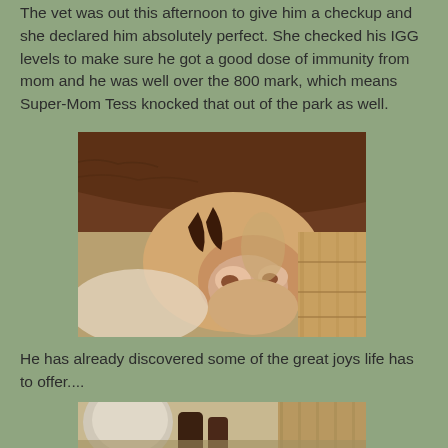The vet was out this afternoon to give him a checkup and she declared him absolutely perfect.  She checked his IGG levels to make sure he got a good dose of immunity from mom and he was well over the 800 mark, which means Super-Mom Tess knocked that out of the park as well.
[Figure (photo): Close-up photo of a horse face/muzzle, taken from below, with brown coat visible and barn wood in the background. The foal's pink muzzle and nostrils are visible.]
He has already discovered some of the great joys life has to offer....
[Figure (photo): Partial photo of a horse in a barn setting, showing the lower portion, partially cut off at the bottom of the page.]